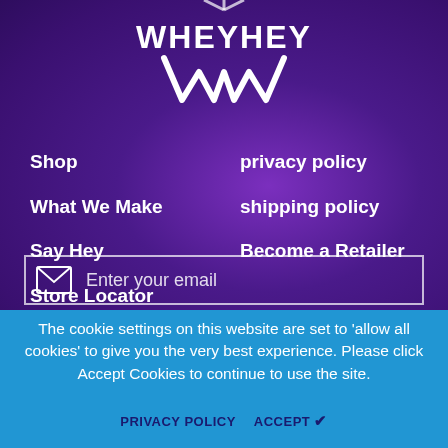[Figure (logo): WheyHey brand logo in white on purple background, showing 'WHEYHEY' text with a stylized W shape beneath it]
Shop
What We Make
Say Hey
Store Locator
privacy policy
shipping policy
Become a Retailer
[Figure (other): Email input field with envelope icon and 'Enter your email' placeholder text]
The cookie settings on this website are set to 'allow all cookies' to give you the very best experience. Please click Accept Cookies to continue to use the site.
PRIVACY POLICY   ACCEPT ✔